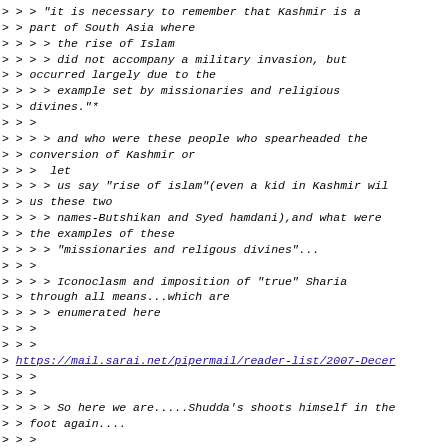> > > "it is necessary to remember that Kashmir is a
> > part of South Asia where
> > > > the rise of Islam
> > > > did not accompany a military invasion, but
> > occurred largely due to the
> > > > example set by missionaries and religious
> > divines."*
> > >
> > > > and who were these people who spearheaded the
> > conversion of Kashmir or
> > >  let
> > > > us say "rise of islam"(even a kid in Kashmir wil
> > us these two
> > > > names-Butshikan and Syed hamdani),and what were
> > the examples of these
> > > > "missionaries and religous divines"...
> > >
> > > > Iconoclasm and imposition of "true" Sharia
> > through all means...which are
> > > > enumerated here
> > >
> > >
> https://mail.sarai.net/pipermail/reader-list/2007-Decer
> > >
> > >
> > > > So here we are.....Shudda's shoots himself in the
> > foot again....
> > >
> > > > Best Regards
> > >